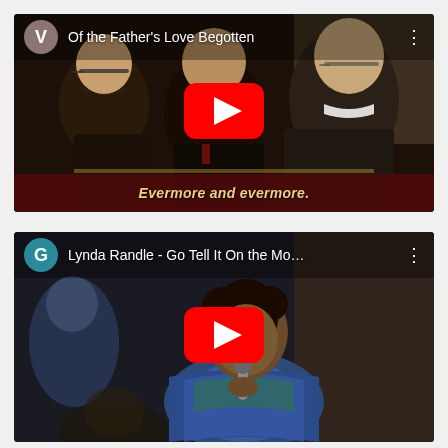[Figure (screenshot): YouTube video thumbnail for 'Of the Father's Love Begotten' showing choir members singing, with a YouTube play button in the center and subtitle 'Evermore and evermore.' at the bottom. Has a 'V' avatar icon and three-dot menu in the top bar.]
[Figure (screenshot): YouTube video thumbnail for 'Lynda Randle - Go Tell It On the Mo...' showing a woman singing into a microphone, with a YouTube play button in the center. Has a 'G' teal avatar icon and three-dot menu in the top bar.]